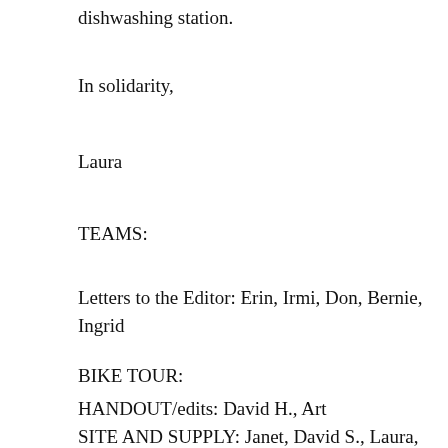dishwashing station.
In solidarity,
Laura
TEAMS:
Letters to the Editor: Erin, Irmi, Don, Bernie, Ingrid
BIKE TOUR:
HANDOUT/edits: David H., Art
SITE AND SUPPLY: Janet, David S., Laura, Kelli